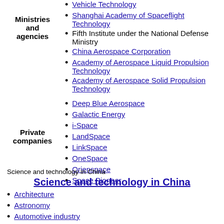Shanghai Academy of Spaceflight Technology
Fifth Institute under the National Defense Ministry
China Aerospace Corporation
Academy of Aerospace Liquid Propulsion Technology
Academy of Aerospace Solid Propulsion Technology
Deep Blue Aerospace
Galactic Energy
i-Space
LandSpace
LinkSpace
OneSpace
Orienspace
Space Pioneer
Science and technology in China
Science and technology in China
Architecture
Astronomy
Automotive industry